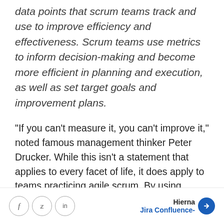data points that scrum teams track and use to improve efficiency and effectiveness. Scrum teams use metrics to inform decision-making and become more efficient in planning and execution, as well as set target goals and improvement plans.
“If you can’t measure it, you can’t improve it,” noted famous management thinker Peter Drucker. While this isn’t a statement that applies to every facet of life, it does apply to teams practicing agile scrum. By using certain metrics, scrum teams can
Hierna Jira Confluence-